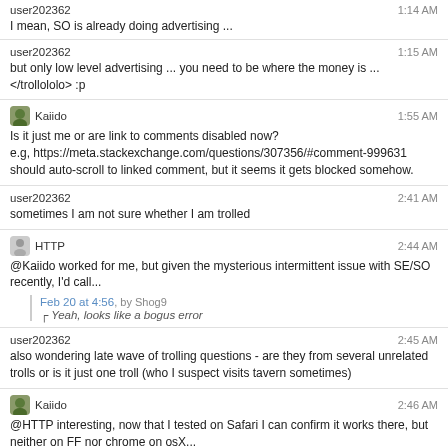user202362 | 1:14 AM
I mean, SO is already doing advertising ...
user202362 | 1:15 AM
but only low level advertising ... you need to be where the money is ... </trollololo> :p
Kaiido | 1:55 AM
Is it just me or are link to comments disabled now?
e.g, https://meta.stackexchange.com/questions/307356/#comment-999631 should auto-scroll to linked comment, but it seems it gets blocked somehow.
user202362 | 2:41 AM
sometimes I am not sure whether I am trolled
HTTP | 2:44 AM
@Kaiido worked for me, but given the mysterious intermittent issue with SE/SO recently, I'd call...
Feb 20 at 4:56, by Shog9
Yeah, looks like a bogus error
user202362 | 2:45 AM
also wondering late wave of trolling questions - are they from several unrelated trolls or is it just one troll (who I suspect visits tavern sometimes)
Kaiido | 2:46 AM
@HTTP interesting, now that I tested on Safari I can confirm it works there, but neither on FF nor chrome on osX...
user315433 | 2:49 AM